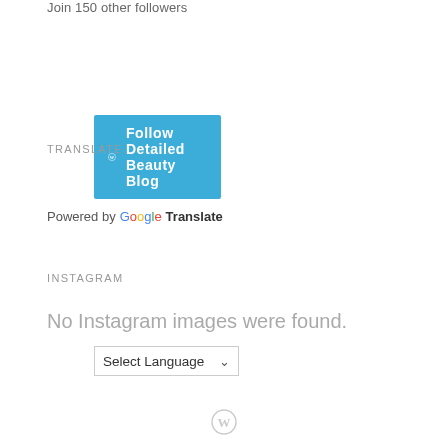Join 150 other followers
[Figure (other): Follow Detailed Beauty Blog button with WordPress icon on teal/blue background]
TRANSLATE
[Figure (other): Select Language dropdown with chevron arrow]
Powered by Google Translate
INSTAGRAM
No Instagram images were found.
[Figure (logo): Small circular icon at bottom center of page]